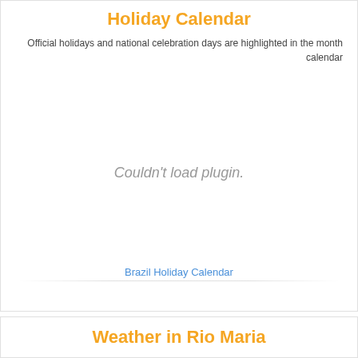Holiday Calendar
Official holidays and national celebration days are highlighted in the month calendar
[Figure (other): Plugin placeholder area showing 'Couldn't load plugin.' message in gray italic text]
Brazil Holiday Calendar
Weather in Rio Maria